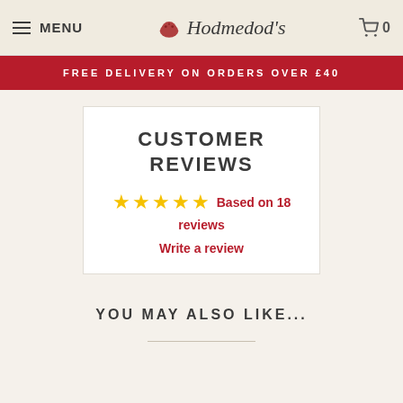MENU  Hodmedod's  0
FREE DELIVERY ON ORDERS OVER £40
CUSTOMER REVIEWS
★★★★★ Based on 18 reviews
Write a review
YOU MAY ALSO LIKE...